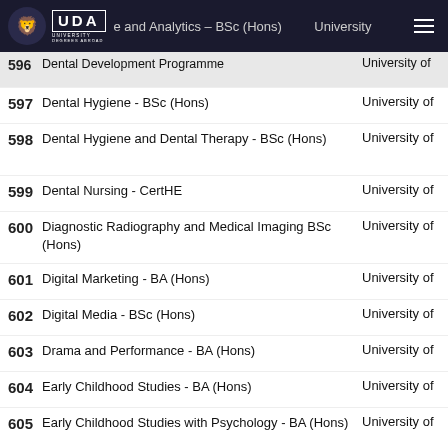University Degrees Abroad — UDA
596 — and Analytics - BSc (Hons) | University of
596 Dental Development Programme | University of
597 Dental Hygiene - BSc (Hons) | University of
598 Dental Hygiene and Dental Therapy - BSc (Hons) | University of
599 Dental Nursing - CertHE | University of
600 Diagnostic Radiography and Medical Imaging BSc (Hons) | University of
601 Digital Marketing - BA (Hons) | University of
602 Digital Media - BSc (Hons) | University of
603 Drama and Performance - BA (Hons) | University of
604 Early Childhood Studies - BA (Hons) | University of
605 Early Childhood Studies with Psychology - BA (Hons) | University of
606 Early Years Care and Education - FdA | University of
607 Economics - BSc (Econ) (Hons) | University of